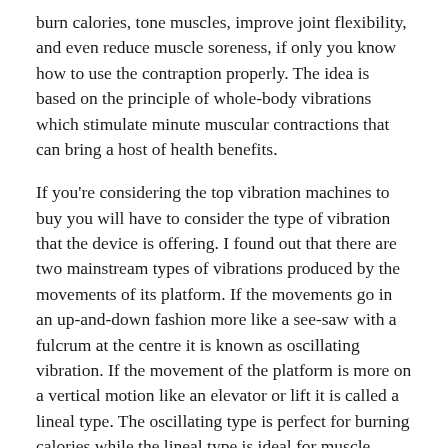burn calories, tone muscles, improve joint flexibility, and even reduce muscle soreness, if only you know how to use the contraption properly. The idea is based on the principle of whole-body vibrations which stimulate minute muscular contractions that can bring a host of health benefits.
If you're considering the top vibration machines to buy you will have to consider the type of vibration that the device is offering. I found out that there are two mainstream types of vibrations produced by the movements of its platform. If the movements go in an up-and-down fashion more like a see-saw with a fulcrum at the centre it is known as oscillating vibration. If the movement of the platform is more on a vertical motion like an elevator or lift it is called a lineal type. The oscillating type is perfect for burning calories while the lineal type is ideal for muscle toning and strengthening.